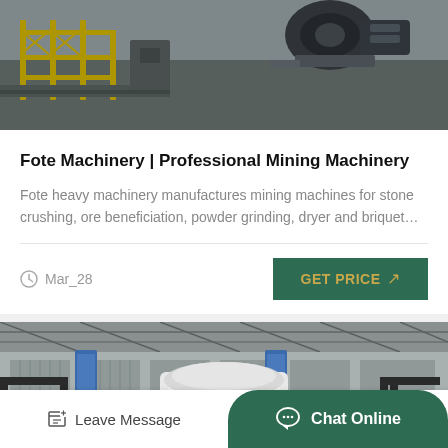[Figure (photo): Industrial mining machinery facility with yellow railings and heavy equipment]
Fote Machinery | Professional Mining Machinery
Fote heavy machinery manufactures mining machines for stone crushing, ore beneficiation, powder grinding, dryer and briquet…
Mar_28
GET PRICE
[Figure (photo): Mining machinery — large white vertical crusher/mill machine inside an industrial warehouse with Chinese banner]
Leave Message  Chat Online